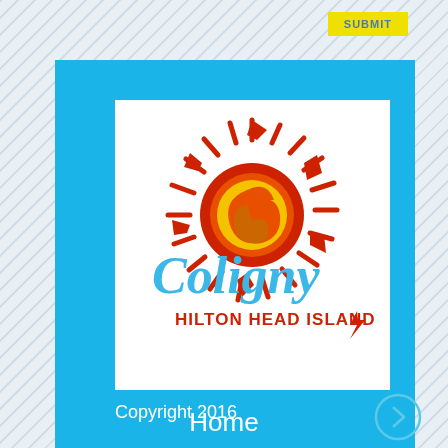[Figure (logo): Yellow SUBMIT button in upper right corner]
[Figure (logo): Coligny Hilton Head Island logo with red sun illustration and blue text on white background inside a sky-blue panel]
Copyright 2016
Home